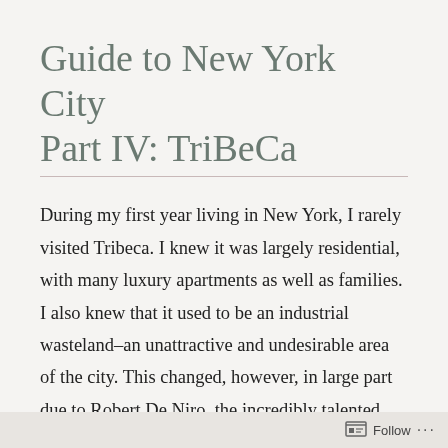Guide to New York City Part IV: TriBeCa
During my first year living in New York, I rarely visited Tribeca. I knew it was largely residential, with many luxury apartments as well as families. I also knew that it used to be an industrial wasteland–an unattractive and undesirable area of the city. This changed, however, in large part due to Robert De Niro, the incredibly talented polymath who invested in Tribeca property and subsequently transformed the area into a trendy, hip, and bustling neighborhood. I am not too well-versed on the subject, but if I am not mistaken, I believe that his
Follow